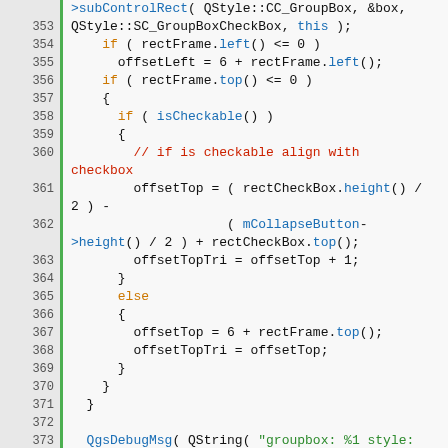[Figure (screenshot): Source code viewer showing C++ code lines 352-376 with syntax highlighting. Line numbers in gray column on left with green border. Keywords in orange, method calls and identifiers in blue, comments in red/dark red, string literals in green, general code in black.]